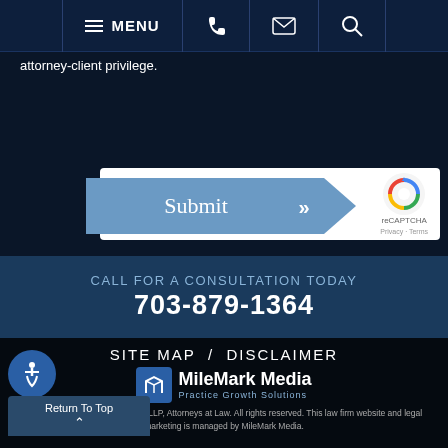[Figure (screenshot): Navigation bar with hamburger menu, MENU text, phone icon, email icon, and search icon on dark navy background]
attorney-client privilege.
[Figure (other): reCAPTCHA widget with checkbox labeled 'I'm not a robot' and reCAPTCHA logo with Privacy and Terms links]
[Figure (other): Submit button with chevron arrows on blue background]
CALL FOR A CONSULTATION TODAY
703-879-1364
SITE MAP  /  DISCLAIMER
[Figure (logo): MileMark Media - Practice Growth Solutions logo]
© 2018 - 2022 Simms Showers, LLP, Attorneys at Law. All rights reserved. This law firm website and legal marketing is managed by MileMark Media.